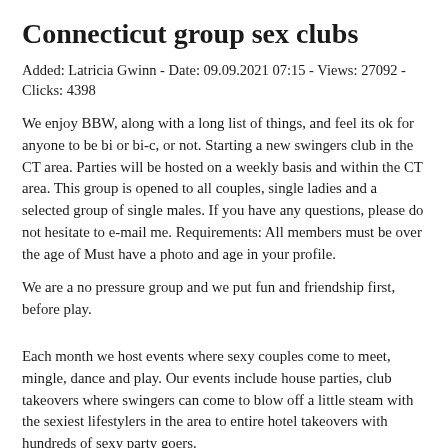Connecticut group sex clubs
Added: Latricia Gwinn - Date: 09.09.2021 07:15 - Views: 27092 - Clicks: 4398
We enjoy BBW, along with a long list of things, and feel its ok for anyone to be bi or bi-c, or not. Starting a new swingers club in the CT area. Parties will be hosted on a weekly basis and within the CT area. This group is opened to all couples, single ladies and a selected group of single males. If you have any questions, please do not hesitate to e-mail me. Requirements: All members must be over the age of Must have a photo and age in your profile.
We are a no pressure group and we put fun and friendship first, before play.
Each month we host events where sexy couples come to meet, mingle, dance and play. Our events include house parties, club takeovers where swingers can come to blow off a little steam with the sexiest lifestylers in the area to entire hotel takeovers with hundreds of sexy party goers.